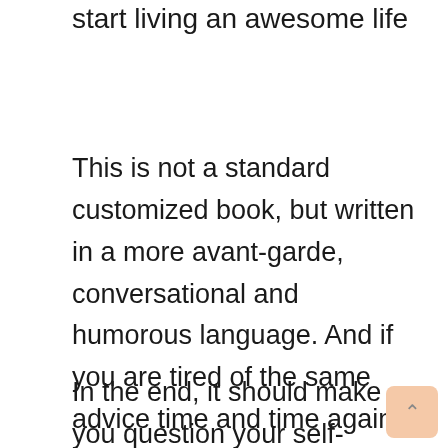start living an awesome life
This is not a standard customized book, but written in a more avant-garde, conversational and humorous language. And if you are tired of the same advice time and time again, that would be a good thing.
In the end, it should make you question your self-destroying beliefs and behaviors.